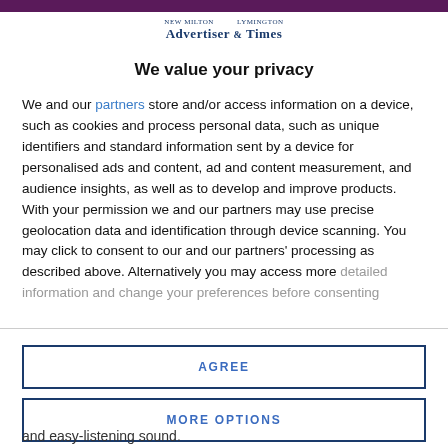[Figure (logo): New Milton Advertiser & Lymington Times newspaper logo in dark blue serif typeface]
We value your privacy
We and our partners store and/or access information on a device, such as cookies and process personal data, such as unique identifiers and standard information sent by a device for personalised ads and content, ad and content measurement, and audience insights, as well as to develop and improve products. With your permission we and our partners may use precise geolocation data and identification through device scanning. You may click to consent to our and our partners' processing as described above. Alternatively you may access more detailed information and change your preferences before consenting
AGREE
MORE OPTIONS
and easy-listening sound.